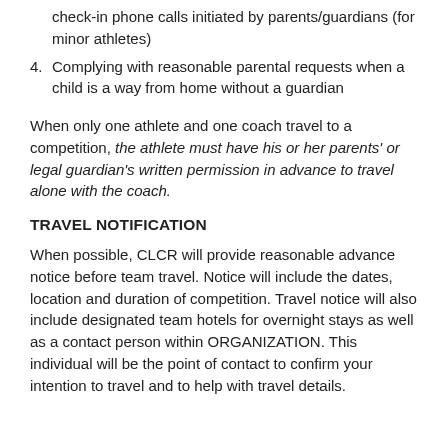check-in phone calls initiated by parents/guardians (for minor athletes)
4. Complying with reasonable parental requests when a child is a way from home without a guardian
When only one athlete and one coach travel to a competition, the athlete must have his or her parents' or legal guardian's written permission in advance to travel alone with the coach.
TRAVEL NOTIFICATION
When possible, CLCR will provide reasonable advance notice before team travel. Notice will include the dates, location and duration of competition. Travel notice will also include designated team hotels for overnight stays as well as a contact person within ORGANIZATION. This individual will be the point of contact to confirm your intention to travel and to help with travel details.